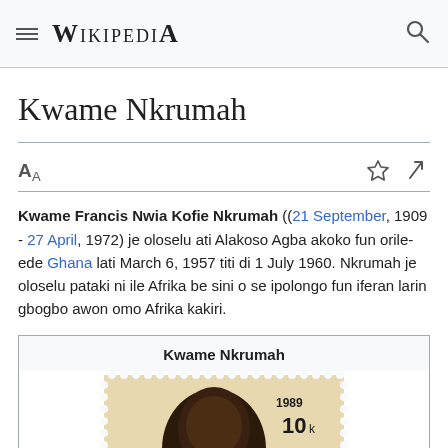WIKIPEDIA
Kwame Nkrumah
Kwame Francis Nwia Kofie Nkrumah ((21 September, 1909 - 27 April, 1972) je oloselu ati Alakoso Agba akoko fun orile-ede Ghana lati March 6, 1957 titi di 1 July 1960. Nkrumah je oloselu pataki ni ile Afrika be sini o se ipolongo fun iferan larin gbogbo awon omo Afrika kakiri.
| Kwame Nkrumah |
| --- |
| [stamp image] |